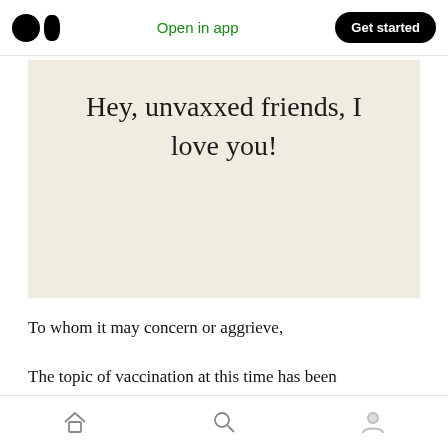Open in app | Get started
[Figure (photo): Cream/beige card or paper with serif text reading: Hey, unvaxxed friends, I love you!]
To whom it may concern or aggrieve,
The topic of vaccination at this time has been
Home | Search | Profile